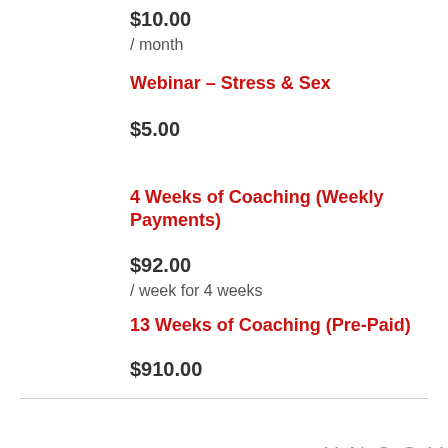$10.00
/ month
Webinar – Stress & Sex
$5.00
4 Weeks of Coaching (Weekly Payments)
$92.00
/ week for 4 weeks
13 Weeks of Coaching (Pre-Paid)
$910.00
UNCOVERING